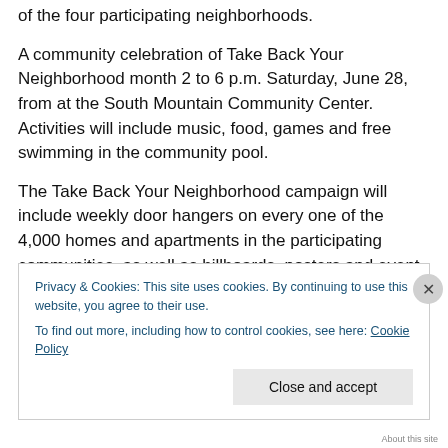of the four participating neighborhoods.
A community celebration of Take Back Your Neighborhood month 2 to 6 p.m. Saturday, June 28, from at the South Mountain Community Center. Activities will include music, food, games and free swimming in the community pool.
The Take Back Your Neighborhood campaign will include weekly door hangers on every one of the 4,000 homes and apartments in the participating communities, as well as billboards, posters and event fliers promoting specific
Privacy & Cookies: This site uses cookies. By continuing to use this website, you agree to their use.
To find out more, including how to control cookies, see here: Cookie Policy
Close and accept